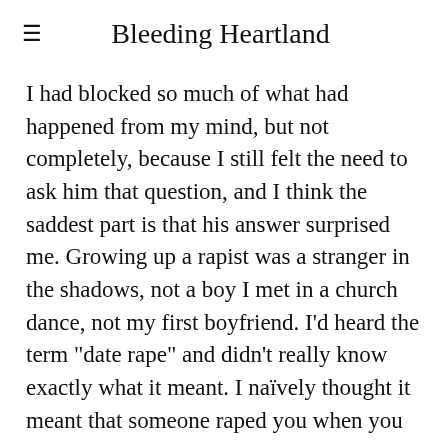Bleeding Heartland
I had blocked so much of what had happened from my mind, but not completely, because I still felt the need to ask him that question, and I think the saddest part is that his answer surprised me. Growing up a rapist was a stranger in the shadows, not a boy I met in a church dance, not my first boyfriend. I'd heard the term "date rape" and didn't really know exactly what it meant. I naïvely thought it meant that someone raped you when you